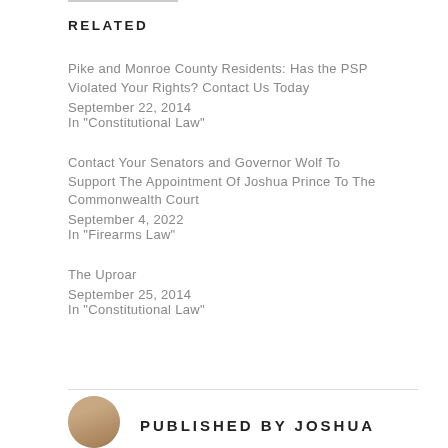RELATED
Pike and Monroe County Residents: Has the PSP Violated Your Rights? Contact Us Today
September 22, 2014
In "Constitutional Law"
Contact Your Senators and Governor Wolf To Support The Appointment Of Joshua Prince To The Commonwealth Court
September 4, 2022
In "Firearms Law"
The Uproar
September 25, 2014
In "Constitutional Law"
PUBLISHED BY JOSHUA